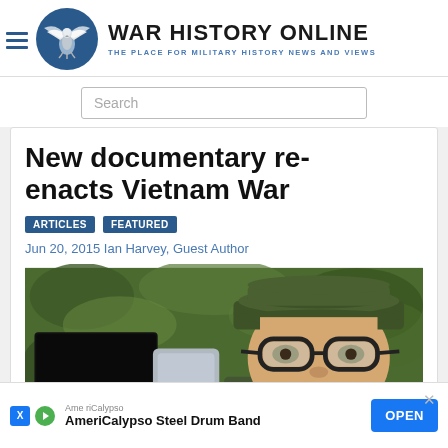WAR HISTORY ONLINE — THE PLACE FOR MILITARY HISTORY NEWS AND VIEWS
New documentary re-enacts Vietnam War
ARTICLES   FEATURED
Jun 20, 2015 Ian Harvey, Guest Author
[Figure (photo): Close-up photo of a person wearing a military jungle hat and thick-rimmed glasses, with green foliage in background and a blacked-out camera/device in foreground]
AmeriCalypso — AmeriCalypso Steel Drum Band   OPEN